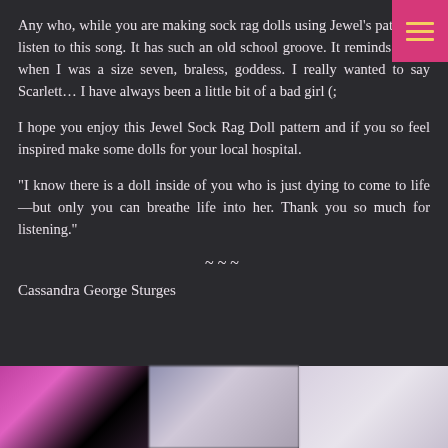Any who, while you are making sock rag dolls using Jewel's pattern—listen to this song. It has such an old school groove. It reminds me of when I was a size seven, braless, goddess. I really wanted to say Scarlett… I have always been a little bit of a bad girl (;
I hope you enjoy this Jewel Sock Rag Doll pattern and if you so feel inspired make some dolls for your local hospital.
“I know there is a doll inside of you who is just dying to come to life—but only you can breathe life into her. Thank you so much for listening.”
~~~
Cassandra George Sturges
[Figure (photo): Three blurred thumbnail images at the bottom of the page — left is pink/black, center is grey/lavender, right is light grey.]